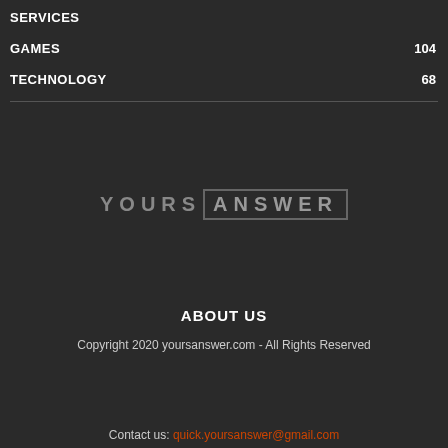SERVICES
GAMES 104
TECHNOLOGY 68
[Figure (logo): YOURS ANSWER logo with ANSWER in a bordered box]
ABOUT US
Copyright 2020 yoursanswer.com - All Rights Reserved
Contact us: quick.yoursanswer@gmail.com